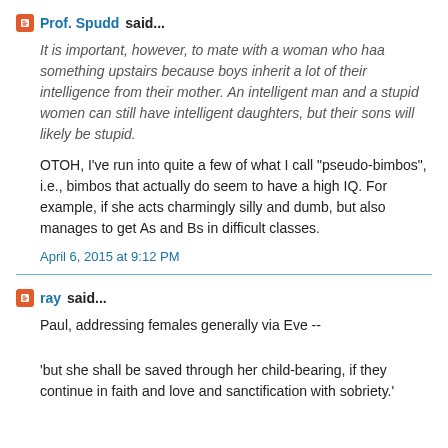Prof. Spudd said...
It is important, however, to mate with a woman who haa something upstairs because boys inherit a lot of their intelligence from their mother. An intelligent man and a stupid women can still have intelligent daughters, but their sons will likely be stupid.
OTOH, I've run into quite a few of what I call "pseudo-bimbos", i.e., bimbos that actually do seem to have a high IQ. For example, if she acts charmingly silly and dumb, but also manages to get As and Bs in difficult classes.
April 6, 2015 at 9:12 PM
ray said...
Paul, addressing females generally via Eve --
'but she shall be saved through her child-bearing, if they continue in faith and love and sanctification with sobriety.'